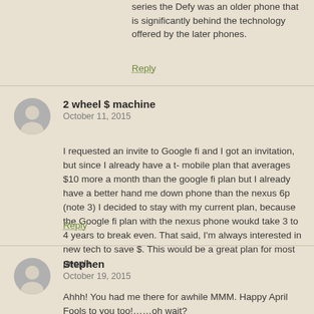series  the Defy was an older phone that is significantly behind the technology offered by the later phones.
Reply
2 wheel $ machine
October 11, 2015
I requested an invite to Google fi and I got an invitation, but since I already have a t- mobile plan that averages $10 more a month than the google fi plan but I already have a better hand me down phone than the nexus 6p (note 3) I decided to stay with my current plan, because the Google fi plan with the nexus phone woukd take 3 to 4 years to break even. That said, I'm always interested in new tech to save $. This would be a great plan for most people.
Reply
Stephen
October 19, 2015
Ahhh! You had me there for awhile MMM. Happy April Fools to you too!……oh wait?